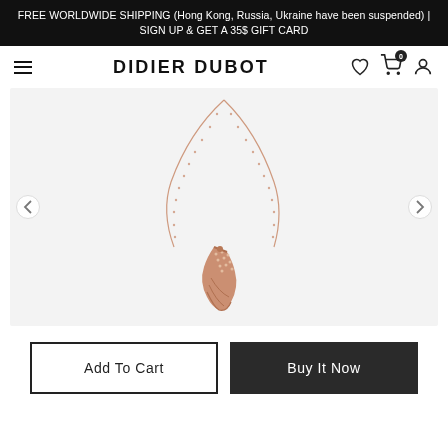FREE WORLDWIDE SHIPPING (Hong Kong, Russia, Ukraine have been suspended) | SIGN UP & GET A 35$ GIFT CARD
DIDIER DUBOT
[Figure (photo): A rose gold necklace with a delicate chain and a mermaid tail pendant decorated with small diamonds/crystals, displayed on a light grey background.]
Add To Cart
Buy It Now